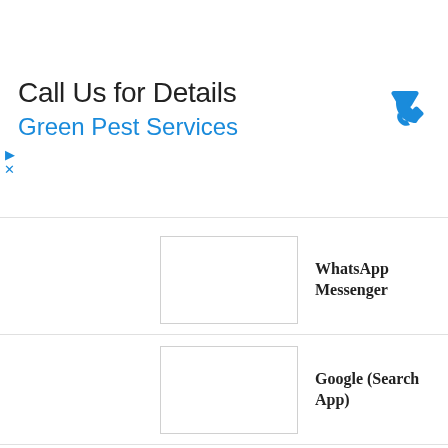[Figure (infographic): Advertisement banner: 'Call Us for Details' with 'Green Pest Services' in blue text and a blue phone icon on the right. Small play and X controls on the left side.]
WhatsApp Messenger
Google (Search App)
SHAREit – Transfer & Share
imo – free video calls & chat